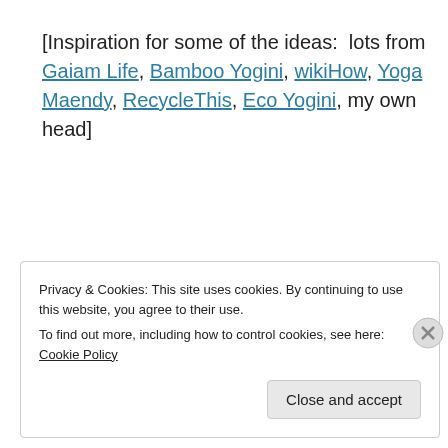[Inspiration for some of the ideas: lots from Gaiam Life, Bamboo Yogini, wikiHow, Yoga Maendy, RecycleThis, Eco Yogini, my own head]
[Figure (other): Broken image icon followed by a link labeled 'Manduka Yoga Gear']
Privacy & Cookies: This site uses cookies. By continuing to use this website, you agree to their use.
To find out more, including how to control cookies, see here: Cookie Policy